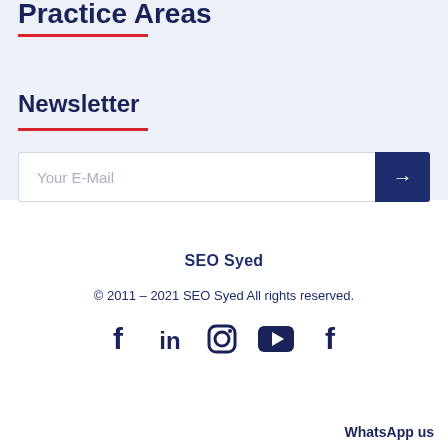Practice Areas
Newsletter
Your E-Mail
SEO Syed
© 2011 – 2021 SEO Syed All rights reserved.
[Figure (other): Social media icons: Facebook, LinkedIn, Instagram, YouTube, Facebook]
WhatsApp us